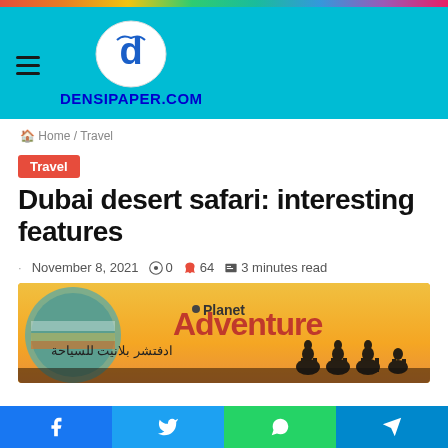DENSIPAPER.COM
Home / Travel
Travel
Dubai desert safari: interesting features
November 8, 2021  0  64  3 minutes read
[Figure (photo): Planet Adventure tourism banner with desert camel silhouette scene and Arabic text]
Social share buttons: Facebook, Twitter, WhatsApp, Telegram